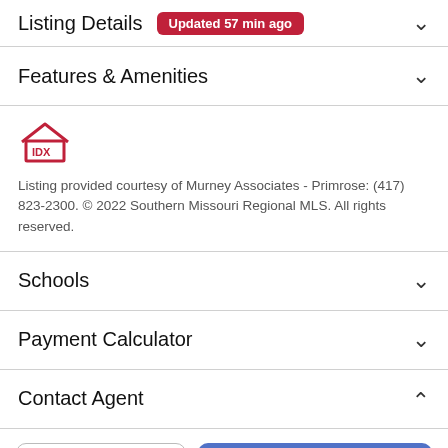Listing Details Updated 57 min ago
Features & Amenities
[Figure (logo): IDX logo — red house outline with IDX text inside]
Listing provided courtesy of Murney Associates - Primrose: (417) 823-2300. © 2022 Southern Missouri Regional MLS. All rights reserved.
Schools
Payment Calculator
Contact Agent
Take a Tour
Ask A Question